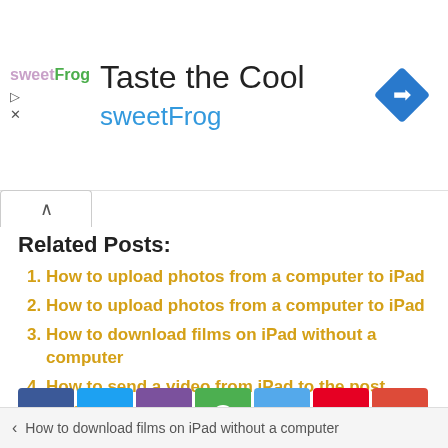[Figure (screenshot): Advertisement banner for sweetFrog with text 'Taste the Cool' and a blue diamond navigation icon]
Related Posts:
How to upload photos from a computer to iPad
How to upload photos from a computer to iPad
How to download films on iPad without a computer
How to send a video from iPad to the post office
[Figure (infographic): Social share buttons: Facebook, Twitter, Viber, WhatsApp, Telegram, Pinterest, Google+]
< How to download films on iPad without a computer